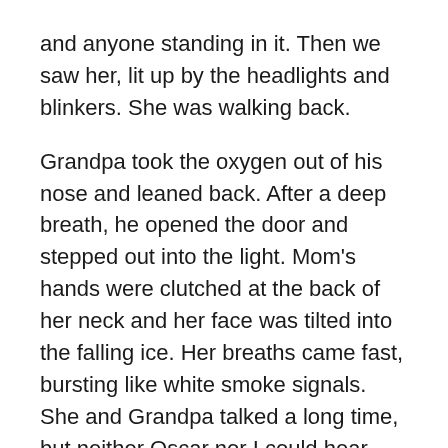and anyone standing in it. Then we saw her, lit up by the headlights and blinkers. She was walking back.
Grandpa took the oxygen out of his nose and leaned back. After a deep breath, he opened the door and stepped out into the light. Mom's hands were clutched at the back of her neck and her face was tilted into the falling ice. Her breaths came fast, bursting like white smoke signals. She and Grandpa talked a long time, but neither Oscar nor I could hear what they were saying.
Oscar started to whimper in the front seat, so I leaned up and rubbed circles into his back the way I'd seen Grandpa do. I told him about all the tenacity we were building up. I held out my arm and flexed my muscles and presented them to Oscar for his